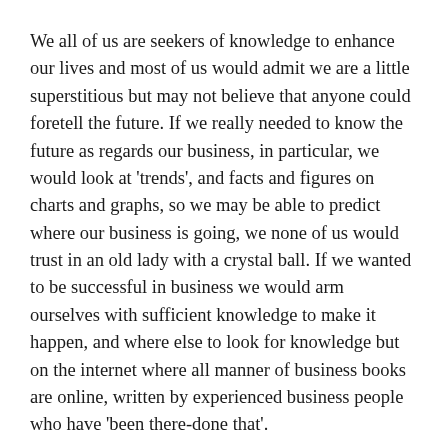We all of us are seekers of knowledge to enhance our lives and most of us would admit we are a little superstitious but may not believe that anyone could foretell the future. If we really needed to know the future as regards our business, in particular, we would look at 'trends', and facts and figures on charts and graphs, so we may be able to predict where our business is going, we none of us would trust in an old lady with a crystal ball. If we wanted to be successful in business we would arm ourselves with sufficient knowledge to make it happen, and where else to look for knowledge but on the internet where all manner of business books are online, written by experienced business people who have 'been there-done that'.
The internet is the first place people now go to find something out, whether it be for personal use or for business, further since it has been a choice of...